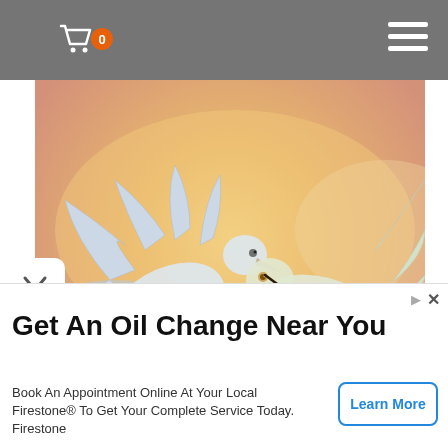[Figure (screenshot): Website navigation bar with shopping cart icon showing badge '0' and hamburger menu icon on gray background]
[Figure (illustration): Watercolor painting of two white doves carrying barbed wire in their beaks against a warm orange and pink cloudy sky background]
Get An Oil Change Near You
Book An Appointment Online At Your Local Firestone® To Get Your Complete Service Today. Firestone